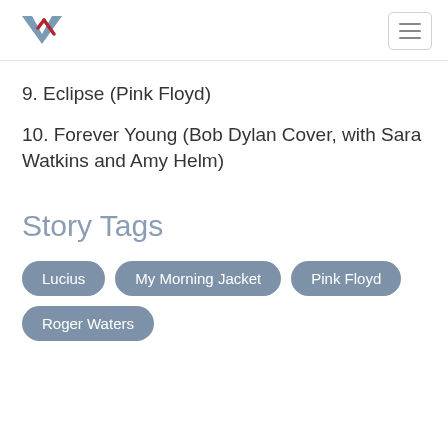V logo and navigation
9. Eclipse (Pink Floyd)
10. Forever Young (Bob Dylan Cover, with Sara Watkins and Amy Helm)
Story Tags
Lucius | My Morning Jacket | Pink Floyd | Roger Waters